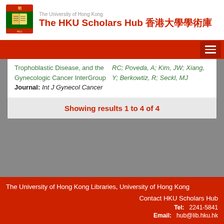The University of Hong Kong — The HKU Scholars Hub 香港大學學術庫
Trophoblastic Disease, and the Gynecologic Cancer InterGroup
Journal: Int J Gynecol Cancer
RC; Poveda, A; Kim, JW; Xiang, Y; Berkowtiz, R; Seckl, MJ
Showing results 1 to 4 of 4
The University of Hong Kong Libraries, University of Hong Kong
Contact HKU Scholars Hub
Tel: 2241-5841
Email: hub@lib.hku.hk